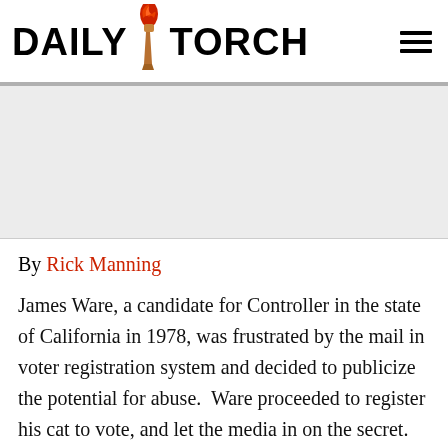DAILY TORCH
[Figure (other): Advertisement placeholder area (gray rectangle)]
By Rick Manning
James Ware, a candidate for Controller in the state of California in 1978, was frustrated by the mail in voter registration system and decided to publicize the potential for abuse.  Ware proceeded to register his cat to vote, and let the media in on the secret.